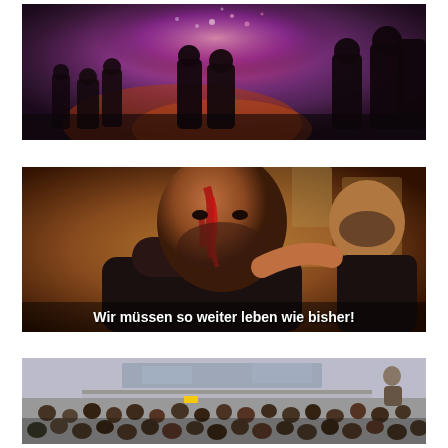[Figure (photo): Video still of a nighttime riot scene with people silhouetted against orange and purple flames/fireworks, police or crowd clashing in smoky chaotic environment]
[Figure (photo): Video still of a man with blood on his face and head, wearing a dark tank top, looking at camera. A second man in a tank top visible to the right. Subtitle text reads: 'Wir müssen so weiter leben wie bisher!']
[Figure (photo): Video still of a large outdoor crowd of people filling a street or square, viewed from slightly elevated angle. Small yellow rectangle visible in the crowd area.]